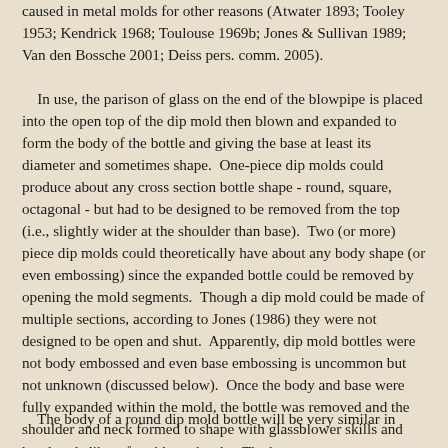caused in metal molds for other reasons (Atwater 1893; Tooley 1953; Kendrick 1968; Toulouse 1969b; Jones & Sullivan 1989; Van den Bossche 2001; Deiss pers. comm. 2005).
In use, the parison of glass on the end of the blowpipe is placed into the open top of the dip mold then blown and expanded to form the body of the bottle and giving the base at least its diameter and sometimes shape. One-piece dip molds could produce about any cross section bottle shape - round, square, octagonal - but had to be designed to be removed from the top (i.e., slightly wider at the shoulder than base). Two (or more) piece dip molds could theoretically have about any body shape (or even embossing) since the expanded bottle could be removed by opening the mold segments. Though a dip mold could be made of multiple sections, according to Jones (1986) they were not designed to be open and shut. Apparently, dip mold bottles were not body embossed and even base embossing is uncommon but not unknown (discussed below). Once the body and base were fully expanded within the mold, the bottle was removed and the shoulder and neck formed to shape with glassblower skills and hand tools like a free-blown bottle. The base may or may not receive hand forming to shape it, though in early dip molded bottles the base was usually pushed inwards with a tool to form a "push-up" or kick-up" (Jones 1986; Jones & Sullivan 1989).
The body of a round dip mold bottle will be very similar in